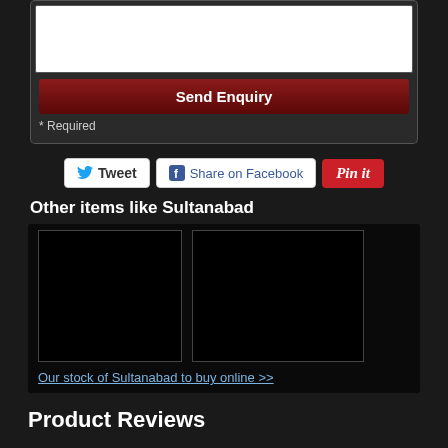[Figure (screenshot): White textarea input box for form]
Send Enquiry
* Required
[Figure (infographic): Social sharing buttons: Tweet, Share on Facebook, Pin it]
Other items like Sultanabad
[Figure (photo): Two black product image placeholder boxes]
Our stock of Sultanabad to buy online >>
Product Reviews